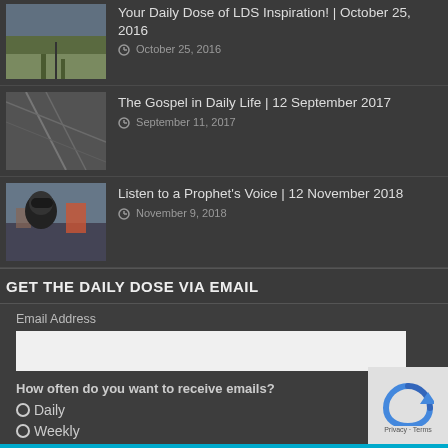[Figure (photo): Thumbnail image of a road/landscape at dusk]
Your Daily Dose of LDS Inspiration! | October 25, 2016
October 25, 2016
[Figure (photo): Thumbnail image of a fence/gate in black and white]
The Gospel in Daily Life | 12 September 2017
September 11, 2017
[Figure (photo): Thumbnail image of a person with headphones on a street]
Listen to a Prophet’s Voice | 12 November 2018
November 9, 2018
GET THE DAILY DOSE VIA EMAIL
Email Address
How often do you want to receive emails?
Daily
Weekly